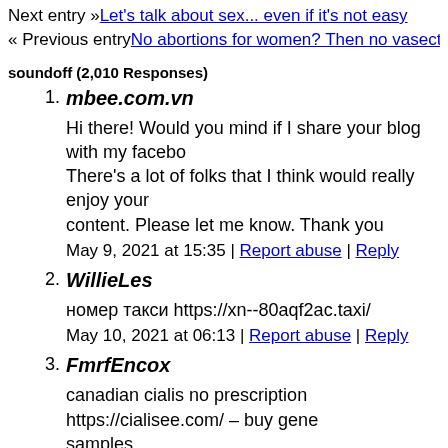Next entry » Let's talk about sex... even if it's not easy
« Previous entry No abortions for women? Then no vasectomies for m...
soundoff (2,010 Responses)
1. mbee.com.vn
Hi there! Would you mind if I share your blog with my facebo... There's a lot of folks that I think would really enjoy your content. Please let me know. Thank you
May 9, 2021 at 15:35 | Report abuse | Reply
2. WillieLes
номер такси https://xn--80aqf2ac.taxi/
May 10, 2021 at 06:13 | Report abuse | Reply
3. FmrfEncox
canadian cialis no prescription https://cialisee.com/ – buy gene... samples
May 10, 2021 at 18:14 | Report abuse | Reply
4. LebnEncox
canadian pharmacy cialis 20mg http://xlnpharmacy.com/ Urier...